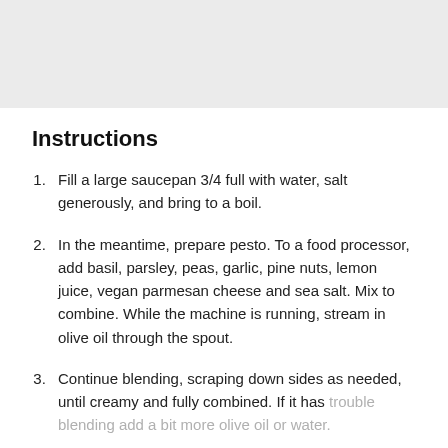[Figure (photo): Gray rectangular image placeholder at the top of the page]
Instructions
Fill a large saucepan 3/4 full with water, salt generously, and bring to a boil.
In the meantime, prepare pesto. To a food processor, add basil, parsley, peas, garlic, pine nuts, lemon juice, vegan parmesan cheese and sea salt. Mix to combine. While the machine is running, stream in olive oil through the spout.
Continue blending, scraping down sides as needed, until creamy and fully combined. If it has trouble blending add a bit more olive oil or water.
(partial, cut off at bottom)